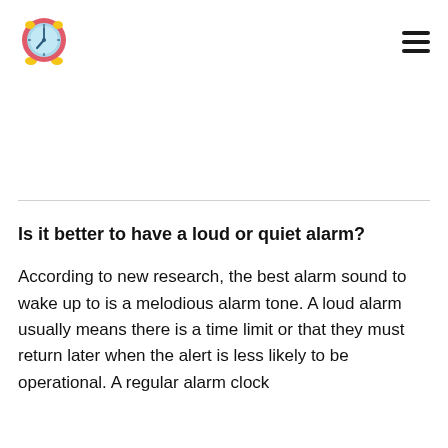[Figure (logo): Alarm clock emoji/icon: a round clock face with light blue face, pink/red casing, and yellow bell feet, showing approximately 7 o'clock]
Is it better to have a loud or quiet alarm?
According to new research, the best alarm sound to wake up to is a melodious alarm tone. A loud alarm usually means there is a time limit or that they must return later when the alert is less likely to be operational. A regular alarm clock